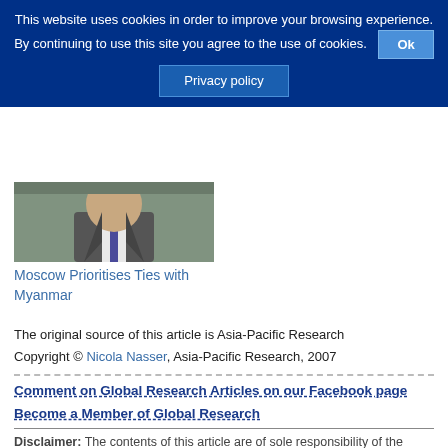This website uses cookies in order to improve your browsing experience. By continuing to use this site you agree to the use of cookies. Ok
Privacy policy
[Figure (photo): Partial photo of a man in a suit and tie]
Moscow Prioritises Ties with Myanmar
The original source of this article is Asia-Pacific Research
Copyright © Nicola Nasser, Asia-Pacific Research, 2007
Comment on Global Research Articles on our Facebook page
Become a Member of Global Research
Disclaimer: The contents of this article are of sole responsibility of the author(s). Asia-Pacific Research will not be responsible for any